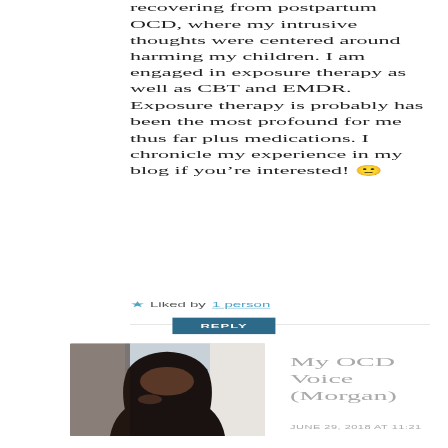recovering from postpartum OCD, where my intrusive thoughts were centered around harming my children. I am engaged in exposure therapy as well as CBT and EMDR. Exposure therapy is probably has been the most profound for me thus far plus medications. I chronicle my experience in my blog if you’re interested! 🙂
★ Liked by 1 person
REPLY
[Figure (photo): Profile photo of a woman with dark hair, partially in shadow]
My OCD Voice (Morgan)
JUNE 29, 2018 AT 11:21